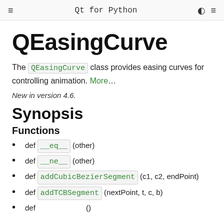Qt for Python
QEasingCurve
The QEasingCurve class provides easing curves for controlling animation. More...
New in version 4.6.
Synopsis
Functions
def __eq__ (other)
def __ne__ (other)
def addCubicBezierSegment (c1, c2, endPoint)
def addTCBSegment (nextPoint, t, c, b)
def ...